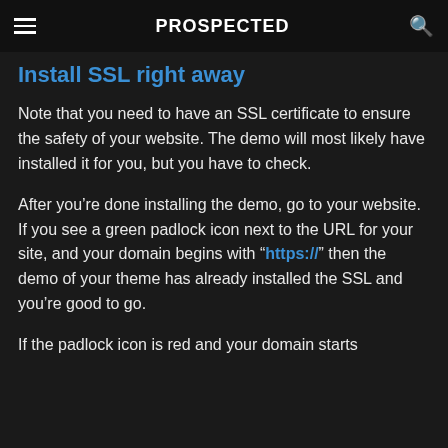PROSPECTED
Install SSL right away
Note that you need to have an SSL certificate to ensure the safety of your website. The demo will most likely have installed it for you, but you have to check.
After you’re done installing the demo, go to your website. If you see a green padlock icon next to the URL for your site, and your domain begins with “https://” then the demo of your theme has already installed the SSL and you’re good to go.
If the padlock icon is red and your domain starts